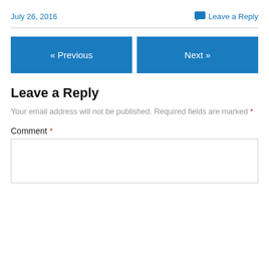July 26, 2016
Leave a Reply
« Previous
Next »
Leave a Reply
Your email address will not be published. Required fields are marked *
Comment *